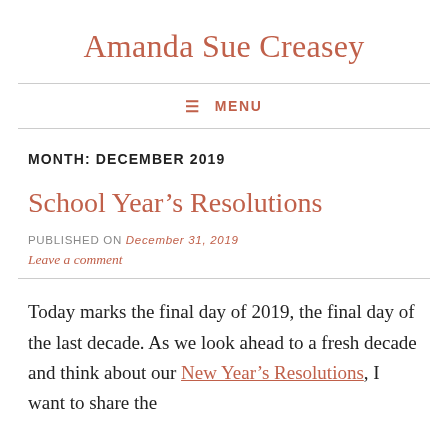Amanda Sue Creasey
≡ MENU
MONTH: DECEMBER 2019
School Year's Resolutions
PUBLISHED ON December 31, 2019
Leave a comment
Today marks the final day of 2019, the final day of the last decade. As we look ahead to a fresh decade and think about our New Year's Resolutions, I want to share the